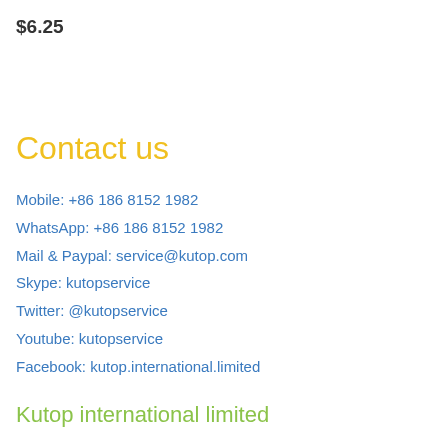$6.25
Contact us
Mobile: +86 186 8152 1982
WhatsApp: +86 186 8152 1982
Mail & Paypal: service@kutop.com
Skype: kutopservice
Twitter: @kutopservice
Youtube: kutopservice
Facebook: kutop.international.limited
Kutop international limited